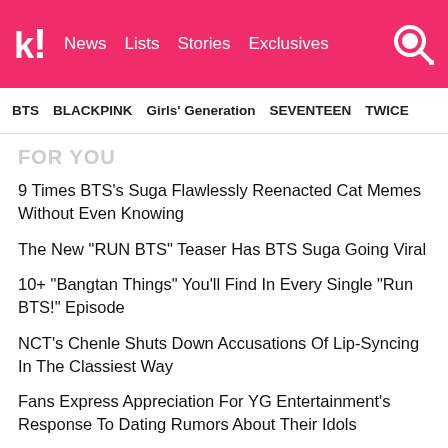k! News  Lists  Stories  Exclusives
BTS  BLACKPINK  Girls' Generation  SEVENTEEN  TWICE
FOR YOU
9 Times BTS's Suga Flawlessly Reenacted Cat Memes Without Even Knowing
The New "RUN BTS" Teaser Has BTS Suga Going Viral
10+ "Bangtan Things" You'll Find In Every Single "Run BTS!" Episode
NCT's Chenle Shuts Down Accusations Of Lip-Syncing In The Classiest Way
Fans Express Appreciation For YG Entertainment's Response To Dating Rumors About Their Idols
NEXT ARTICLE